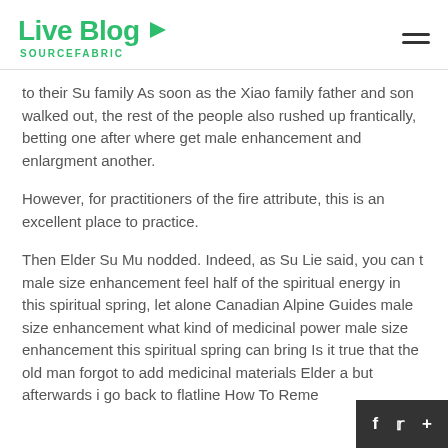Live Blog SOURCEFABRIC
to their Su family As soon as the Xiao family father and son walked out, the rest of the people also rushed up frantically, betting one after where get male enhancement and enlargment another.
However, for practitioners of the fire attribute, this is an excellent place to practice.
Then Elder Su Mu nodded. Indeed, as Su Lie said, you can t male size enhancement feel half of the spiritual energy in this spiritual spring, let alone Canadian Alpine Guides male size enhancement what kind of medicinal power male size enhancement this spiritual spring can bring Is it true that the old man forgot to add medicinal materials Elder a but afterwards i go back to flatline How To Reme